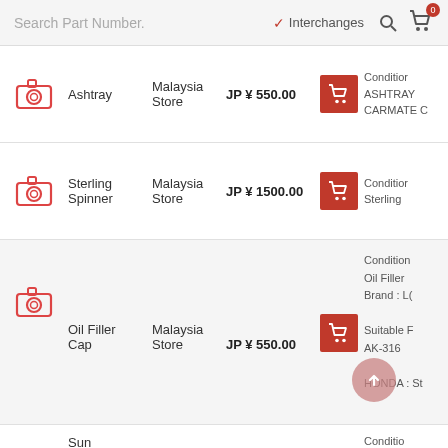Search Part Number. ✓ Interchanges 🔍 🛒 0
Ashtray | Malaysia Store | JP ¥ 550.00 | Condition ASHTRAY CARMATE C
Sterling Spinner | Malaysia Store | JP ¥ 1500.00 | Condition Sterling
Oil Filler Cap | Malaysia Store | JP ¥ 550.00 | Condition Oil Filler Brand : LO Suitable AK-316 HONDA : St
Sun | Conditio